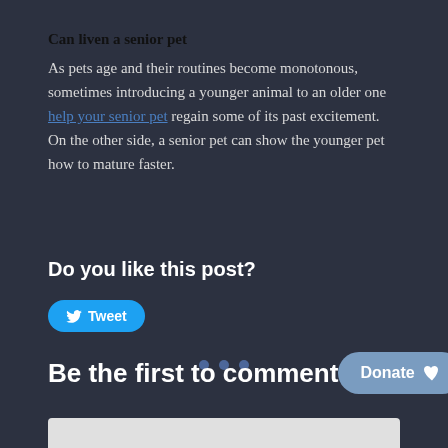Can liven a senior pet
As pets age and their routines become monotonous, sometimes introducing a younger animal to an older one help your senior pet regain some of its past excitement. On the other side, a senior pet can show the younger pet how to mature faster.
Do you like this post?
[Figure (other): Tweet button with Twitter bird icon]
[Figure (other): Three decorative dots divider]
Be the first to comment
[Figure (other): Donate button with heart icon]
[Figure (other): Comment input bar at bottom]